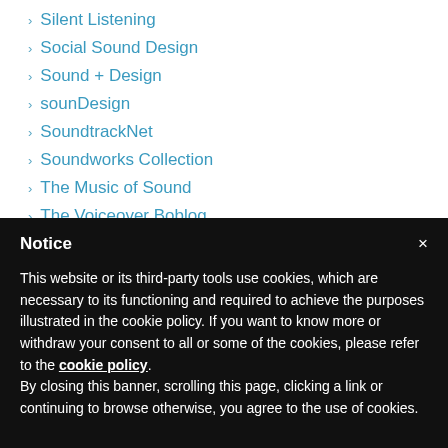Silent Listening
Social Sound Design
Sound + Design
sounDesign
SoundtrackNet
Soundworks Collection
The Music of Sound
The Voiceover Boblog
Notice

This website or its third-party tools use cookies, which are necessary to its functioning and required to achieve the purposes illustrated in the cookie policy. If you want to know more or withdraw your consent to all or some of the cookies, please refer to the cookie policy. By closing this banner, scrolling this page, clicking a link or continuing to browse otherwise, you agree to the use of cookies.